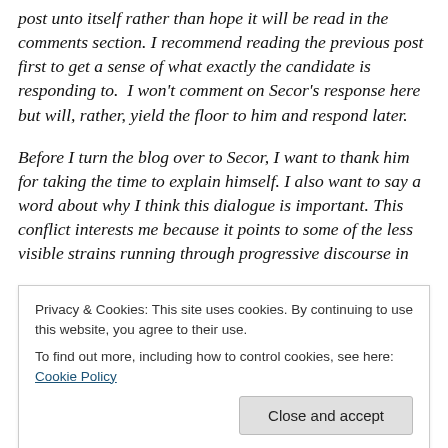post unto itself rather than hope it will be read in the comments section. I recommend reading the previous post first to get a sense of what exactly the candidate is responding to. I won't comment on Secor's response here but will, rather, yield the floor to him and respond later.
Before I turn the blog over to Secor, I want to thank him for taking the time to explain himself. I also want to say a word about why I think this dialogue is important. This conflict interests me because it points to some of the less visible strains running through progressive discourse in
Privacy & Cookies: This site uses cookies. By continuing to use this website, you agree to their use. To find out more, including how to control cookies, see here: Cookie Policy
Close and accept
disagreement is a political one, over the notion that the